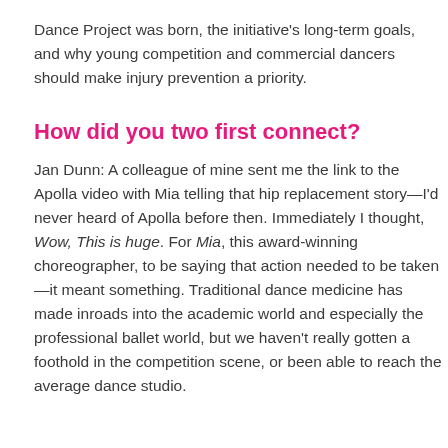Dance Project was born, the initiative's long-term goals, and why young competition and commercial dancers should make injury prevention a priority.
How did you two first connect?
Jan Dunn: A colleague of mine sent me the link to the Apolla video with Mia telling that hip replacement story—I'd never heard of Apolla before then. Immediately I thought, Wow, This is huge. For Mia, this award-winning choreographer, to be saying that action needed to be taken—it meant something. Traditional dance medicine has made inroads into the academic world and especially the professional ballet world, but we haven't really gotten a foothold in the competition scene, or been able to reach the average dance studio.